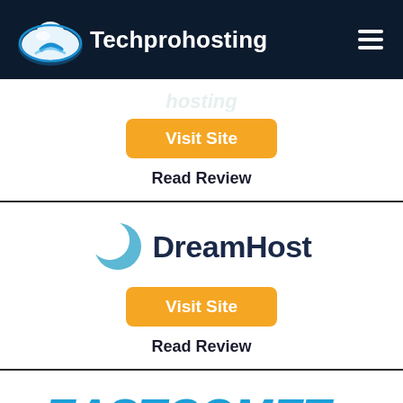Techprohosting
[Figure (other): Visit Site button (orange/yellow rounded rectangle)]
Read Review
[Figure (logo): DreamHost logo with crescent moon icon and dark blue text]
[Figure (other): Visit Site button (orange/yellow rounded rectangle)]
Read Review
[Figure (logo): EastComet logo in blue italic bold text (partially visible)]